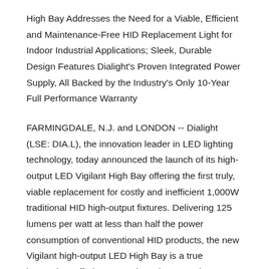High Bay Addresses the Need for a Viable, Efficient and Maintenance-Free HID Replacement Light for Indoor Industrial Applications; Sleek, Durable Design Features Dialight's Proven Integrated Power Supply, All Backed by the Industry's Only 10-Year Full Performance Warranty
FARMINGDALE, N.J. and LONDON -- Dialight (LSE: DIA.L), the innovation leader in LED lighting technology, today announced the launch of its high-output LED Vigilant High Bay offering the first truly, viable replacement for costly and inefficient 1,000W traditional HID high-output fixtures. Delivering 125 lumens per watt at less than half the power consumption of conventional HID products, the new Vigilant high-output LED High Bay is a true innovation, offering approximately 60,000 lumen output from a single 480W Dialight-designed power supply, in a sleek, durable